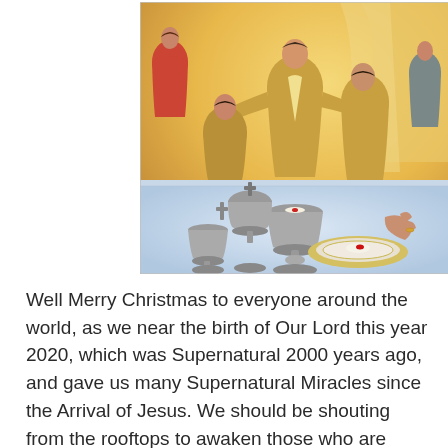[Figure (illustration): A color illustration depicting a Catholic Mass or Eucharist scene. Several priests in golden vestments are gathered around an altar. In the foreground are silver chalices, a ciborium with a cross, and a paten with a host. Hands are shown handling the sacred vessels. The background shows a warm golden glow.]
Well Merry Christmas to everyone around the world, as we near the birth of Our Lord this year 2020, which was Supernatural 2000 years ago, and gave us many Supernatural Miracles since the Arrival of Jesus. We should be shouting from the rooftops to awaken those who are asleep, to bring them to Jesus